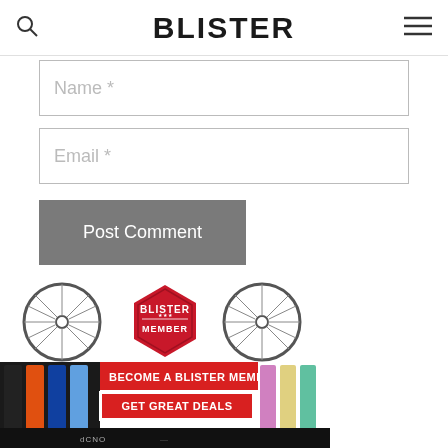BLISTER
Name *
Email *
Post Comment
[Figure (infographic): Blister Member advertisement banner showing bicycle wheels, a hexagonal Blister Member badge, skis, and text: BECOME A BLISTER MEMBER / GET GREAT DEALS]